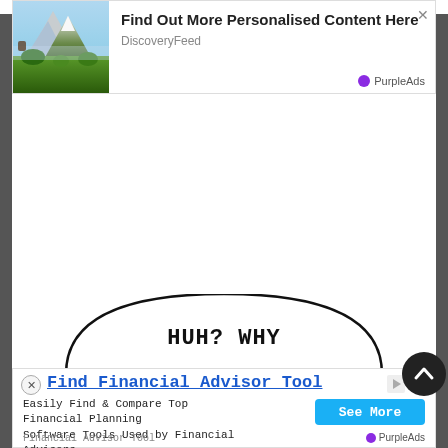[Figure (screenshot): Top advertisement: landscape mountain photo on left, ad text 'Find Out More Personalised Content Here' from DiscoveryFeed, with PurpleAds branding and close button]
[Figure (screenshot): White empty space in the middle of the page, part of webpage content area]
HUH? WHY
[Figure (screenshot): Bottom advertisement: 'Find Financial Advisor Tool' with subtitle 'Easily Find & Compare Top Financial Planning Software Tools Used by Financial Advisors', source 'Financial Advisor Tool', blue 'See More' button, PurpleAds branding, close and skip buttons]